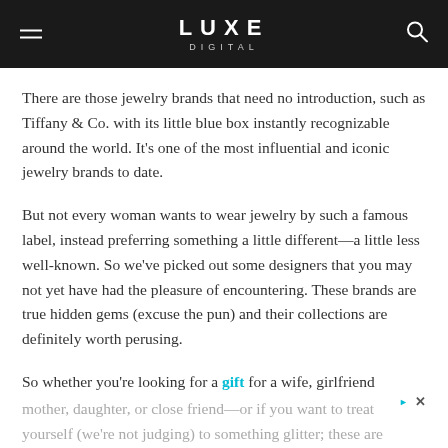LUXE DIGITAL
There are those jewelry brands that need no introduction, such as Tiffany & Co. with its little blue box instantly recognizable around the world. It's one of the most influential and iconic jewelry brands to date.
But not every woman wants to wear jewelry by such a famous label, instead preferring something a little different—a little less well-known. So we've picked out some designers that you may not yet have had the pleasure of encountering. These brands are true hidden gems (excuse the pun) and their collections are definitely worth perusing.
So whether you're looking for a gift for a wife, girlfriend mother, daughter, or close friend—or if you want to treat yourself (we're not judging) to something glitter; these are